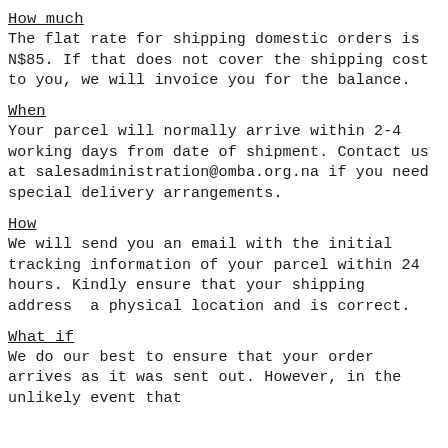How much
The flat rate for shipping domestic orders is N$85. If that does not cover the shipping cost to you, we will invoice you for the balance.
When
Your parcel will normally arrive within 2-4 working days from date of shipment. Contact us at salesadministration@omba.org.na if you need special delivery arrangements.
How
We will send you an email with the initial tracking information of your parcel within 24 hours. Kindly ensure that your shipping address  a physical location and is correct.
What if
We do our best to ensure that your order arrives as it was sent out. However, in the unlikely event that